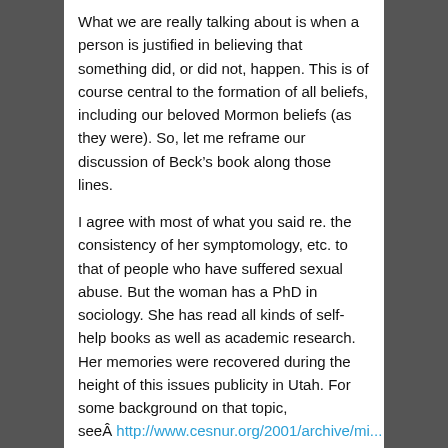What we are really talking about is when a person is justified in believing that something did, or did not, happen. This is of course central to the formation of all beliefs, including our beloved Mormon beliefs (as they were). So, let me reframe our discussion of Beck's book along those lines.
I agree with most of what you said re. the consistency of her symptomology, etc. to that of people who have suffered sexual abuse. But the woman has a PhD in sociology. She has read all kinds of self-help books as well as academic research. Her memories were recovered during the height of this issues publicity in Utah. For some background on that topic, seeÂ http://www.cesnur.org/2001/archive/mi... Are we not believe that Martha was not familiar with what “worked” and did not work from a symptomology point of view? And we need look no further than her book itself to find evidence that she remembers things selectively and in Technicolor as